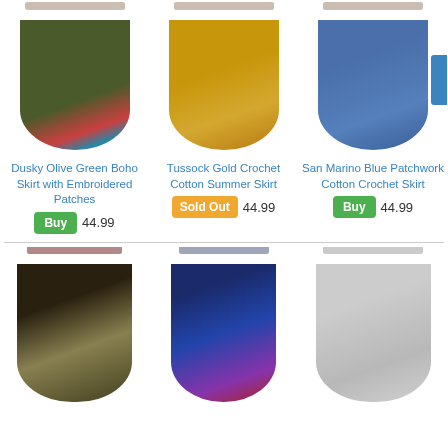[Figure (photo): Dusky Olive Green Boho Skirt with Embroidered Patches product image]
Dusky Olive Green Boho Skirt with Embroidered Patches
Buy  44.99
[Figure (photo): Tussock Gold Crochet Cotton Summer Skirt product image]
Tussock Gold Crochet Cotton Summer Skirt
Sold Out  44.99
[Figure (photo): San Marino Blue Patchwork Cotton Crochet Skirt product image]
San Marino Blue Patchwork Cotton Crochet Skirt
Buy  44.99
[Figure (photo): Patchwork dark cotton skirt product image]
[Figure (photo): Multi-color blue patchwork wrap skirt product image]
[Figure (photo): Light gray tiered cotton skirt product image]